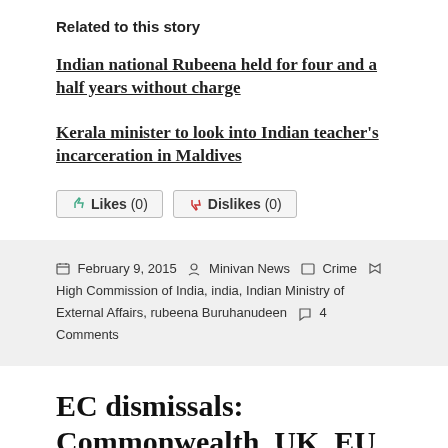Related to this story
Indian national Rubeena held for four and a half years without charge
Kerala minister to look into Indian teacher's incarceration in Maldives
Likes (0)  Dislikes (0)
February 9, 2015  Minivan News  Crime  High Commission of India, india, Indian Ministry of External Affairs, rubeena Buruhanudeen  4 Comments
EC dismissals: Commonwealth, UK, EU and